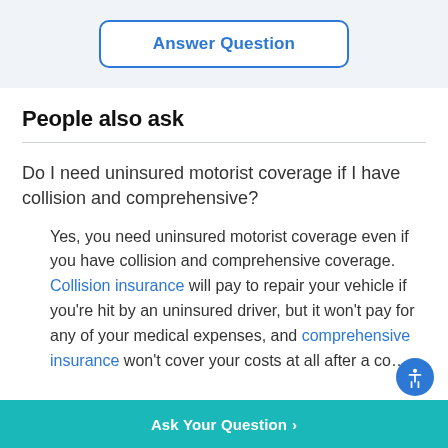[Figure (other): Answer Question button with blue border on light gray background]
People also ask
Do I need uninsured motorist coverage if I have collision and comprehensive?
Yes, you need uninsured motorist coverage even if you have collision and comprehensive coverage. Collision insurance will pay to repair your vehicle if you're hit by an uninsured driver, but it won't pay for any of your medical expenses, and comprehensive insurance won't cover your costs at all after a co...
Ask Your Question >